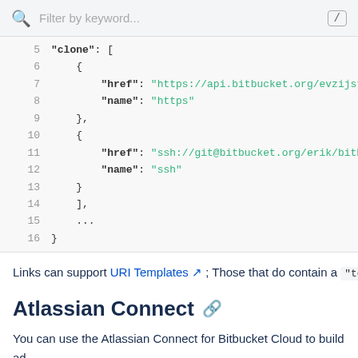Filter by keyword...
[Figure (screenshot): Code block showing JSON with clone URLs for bitbucket, lines 5-16]
Links can support URI Templates ; Those that do contain a "te
Atlassian Connect
You can use the Atlassian Connect for Bitbucket Cloud to build a integration with another existing service, new features for the Atla